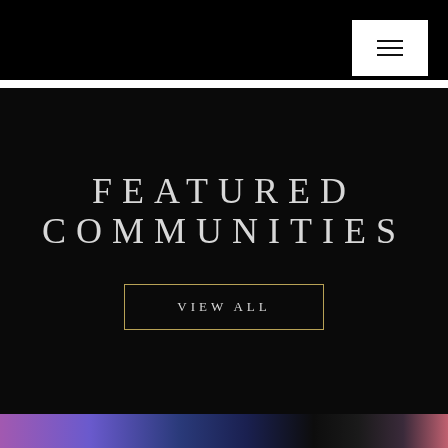≡
FEATURED COMMUNITIES
VIEW ALL